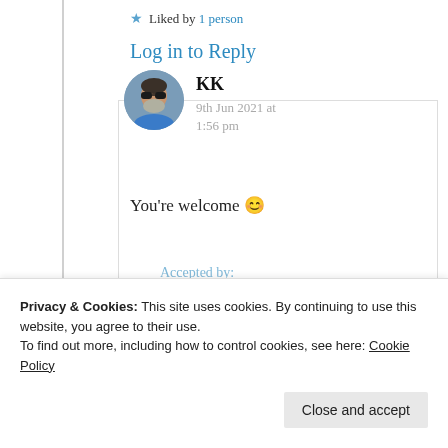★ Liked by 1 person
Log in to Reply
KK
9th Jun 2021 at 1:56 pm
You're welcome 😊
Privacy & Cookies: This site uses cookies. By continuing to use this website, you agree to their use.
To find out more, including how to control cookies, see here: Cookie Policy
Close and accept